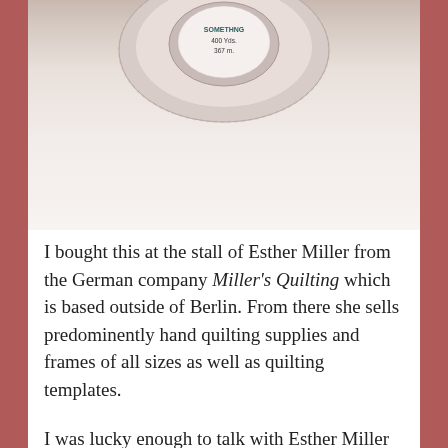[Figure (photo): A close-up photo of a spool of thread or quilting thread. The label on the spool reads '400 Yds. 367 m.' The background is white/light.]
I bought this at the stall of Esther Miller from the German company Miller's Quilting which is based outside of Berlin. From there she sells predominently hand quilting supplies and frames of all sizes as well as quilting templates.
I was lucky enough to talk with Esther Miller who specializes in Amish hand quilting techniques and holds workshops on the